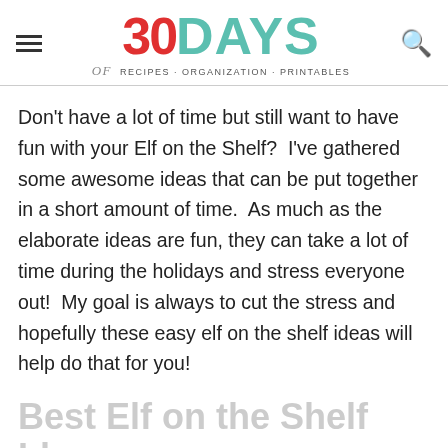30DAYS of RECIPES · ORGANIZATION · PRINTABLES
Don't have a lot of time but still want to have fun with your Elf on the Shelf?  I've gathered some awesome ideas that can be put together in a short amount of time.  As much as the elaborate ideas are fun, they can take a lot of time during the holidays and stress everyone out!  My goal is always to cut the stress and hopefully these easy elf on the shelf ideas will help do that for you!
Best Elf on the Shelf Ideas